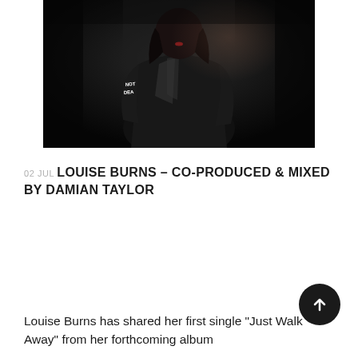[Figure (photo): A person wearing a shiny black jacket with 'NOT DEAD' written on the sleeve, standing against a dark background.]
02 JUL LOUISE BURNS – CO-PRODUCED & MIXED BY DAMIAN TAYLOR
Louise Burns has shared her first single "Just Walk Away" from her forthcoming album